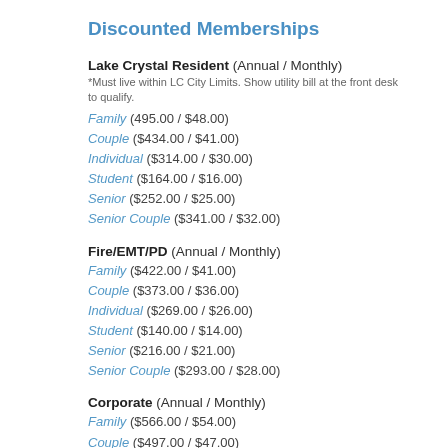Discounted Memberships
Lake Crystal Resident (Annual / Monthly)
*Must live within LC City Limits. Show utility bill at the front desk to qualify.
Family (495.00 / $48.00)
Couple ($434.00 / $41.00)
Individual ($314.00 / $30.00)
Student ($164.00 / $16.00)
Senior ($252.00 / $25.00)
Senior Couple ($341.00 / $32.00)
Fire/EMT/PD (Annual / Monthly)
Family ($422.00 / $41.00)
Couple ($373.00 / $36.00)
Individual ($269.00 / $26.00)
Student ($140.00 / $14.00)
Senior ($216.00 / $21.00)
Senior Couple ($293.00 / $28.00)
Corporate (Annual / Monthly)
Family ($566.00 / $54.00)
Couple ($497.00 / $47.00)
Individual ($359.00 / $34.00)